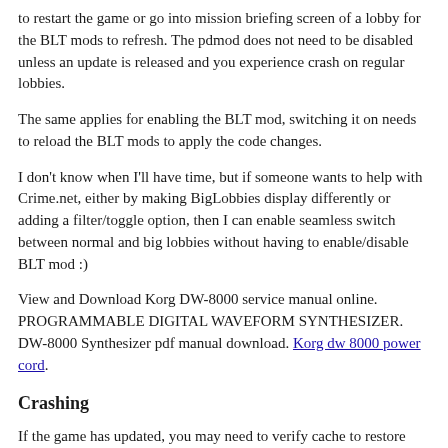to restart the game or go into mission briefing screen of a lobby for the BLT mods to refresh. The pdmod does not need to be disabled unless an update is released and you experience crash on regular lobbies.
The same applies for enabling the BLT mod, switching it on needs to reload the BLT mods to apply the code changes.
I don't know when I'll have time, but if someone wants to help with Crime.net, either by making BigLobbies display differently or adding a filter/toggle option, then I can enable seamless switch between normal and big lobbies without having to enable/disable BLT mod :)
View and Download Korg DW-8000 service manual online. PROGRAMMABLE DIGITAL WAVEFORM SYNTHESIZER. DW-8000 Synthesizer pdf manual download. Korg dw 8000 power cord.
Crashing
If the game has updated, you may need to verify cache to restore original code and apply the pdmod again. If you still crash, chances are the game added/changed new code and BigLobby needs to update, create a Github Issue. Please submit a